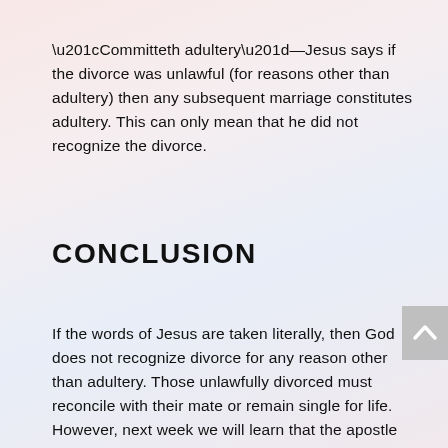“Committeth adultery”—Jesus says if the divorce was unlawful (for reasons other than adultery) then any subsequent marriage constitutes adultery. This can only mean that he did not recognize the divorce.
CONCLUSION
If the words of Jesus are taken literally, then God does not recognize divorce for any reason other than adultery. Those unlawfully divorced must reconcile with their mate or remain single for life. However, next week we will learn that the apostle Paul gives yet another exception. Remember, we must study “the whole counsel of God.”